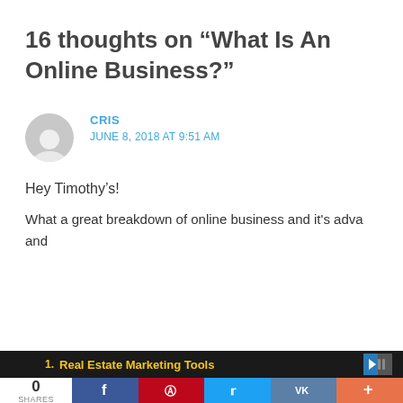16 thoughts on “What Is An Online Business?”
CRIS
JUNE 8, 2018 AT 9:51 AM
Hey Timothy’s!
What a great breakdown of online business and it’s adva and
1. Real Estate Marketing Tools
0
SHARES